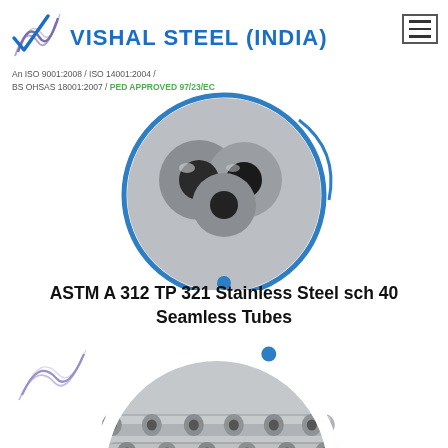VISHAL STEEL (INDIA) — An ISO 9001:2008 / ISO 14001:2004 / BS OHSAS 18001:2007 / PED APPROVED 97/23/EC
[Figure (photo): Circular framed photo of stainless steel seamless tubes/pipes bundled together, viewed from the end, with blue circular border and decorative arc elements]
ASTM A 312 TP 321 Stainless Steel sch 40 Seamless Tubes
[Figure (photo): Circular framed photo of multiple stainless steel seamless tubes/pipes stacked horizontally, with blue circular border and decorative wave logo element]